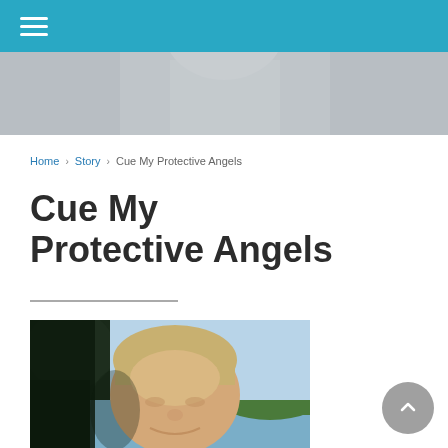Navigation bar with hamburger menu icon
[Figure (photo): Blurred background hero photo showing a person in light clothing, muted gray-blue tones]
Home › Story › Cue My Protective Angels
Cue My Protective Angels
[Figure (photo): Outdoor photo of a middle-aged man with light blonde/gray hair smiling, with trees, a lake, and green hills in the background under a blue sky]